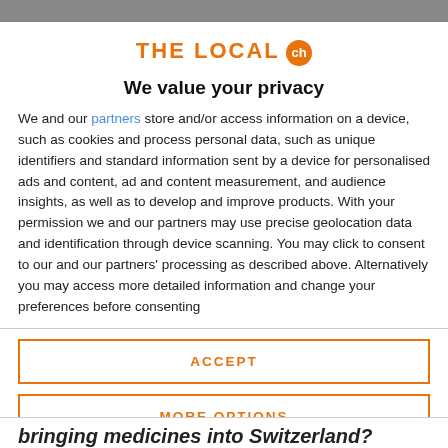THE LOCAL ch
We value your privacy
We and our partners store and/or access information on a device, such as cookies and process personal data, such as unique identifiers and standard information sent by a device for personalised ads and content, ad and content measurement, and audience insights, as well as to develop and improve products. With your permission we and our partners may use precise geolocation data and identification through device scanning. You may click to consent to our and our partners' processing as described above. Alternatively you may access more detailed information and change your preferences before consenting
ACCEPT
MORE OPTIONS
bringing medicines into Switzerland?